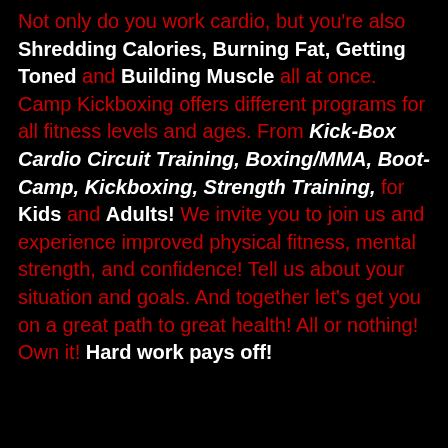Not only do you work cardio, but you're also Shredding Calories, Burning Fat, Getting Toned and Building Muscle all at once. Camp Kickboxing offers different programs for all fitness levels and ages. From Kick-Box Cardio Circuit Training, Boxing/MMA, Boot-Camp, Kickboxing, Strength Training, for Kids and Adults! We invite you to join us and experience improved physical fitness, mental strength, and confidence! Tell us about your situation and goals. And together let's get you on a great path to great health! All or nothing! Own it! Hard work pays off!